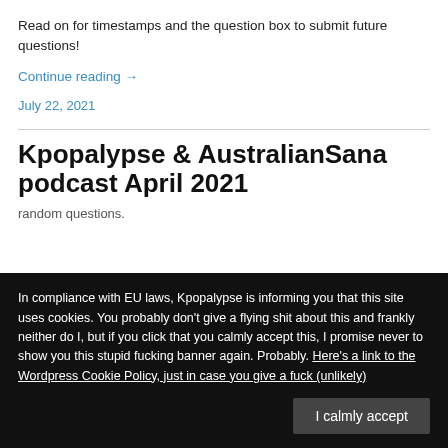Read on for timestamps and the question box to submit future questions!
Continue reading →
July 22, 2021
Kpopalypse & AustralianSana podcast April 2021
random questions.
In compliance with EU laws, Kpopalypse is informing you that this site uses cookies. You probably don't give a flying shit about this and frankly neither do I, but if you click that you calmly accept this, I promise never to show you this stupid fucking banner again. Probably. Here's a link to the Wordpress Cookie Policy, just in case you give a fuck (unlikely)
I calmly accept